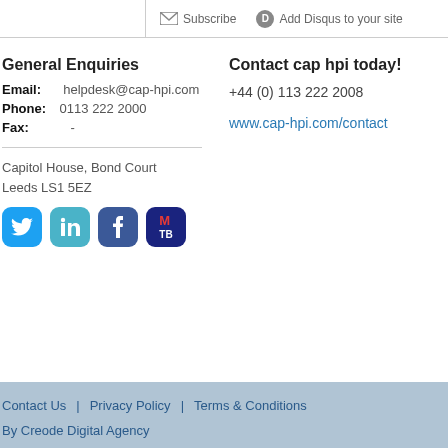Subscribe   Add Disqus to your site
General Enquiries
Email: helpdesk@cap-hpi.com
Phone: 0113 222 2000
Fax: -
Contact cap hpi today!
+44 (0) 113 222 2008
www.cap-hpi.com/contact
Capitol House, Bond Court
Leeds LS1 5EZ
[Figure (logo): Social media icons: Twitter, LinkedIn, Facebook, MTB]
Contact Us | Privacy Policy | Terms & Conditions
By Creode Digital Agency